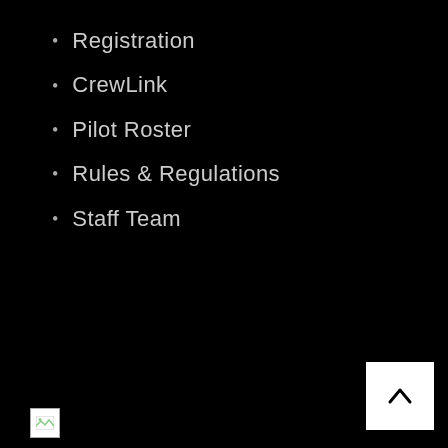Registration
CrewLink
Pilot Roster
Rules & Regulations
Staff Team
[Figure (other): Broken image placeholder (small white square with image icon)]
[Figure (other): Back to top button: white square with upward chevron (^) symbol]